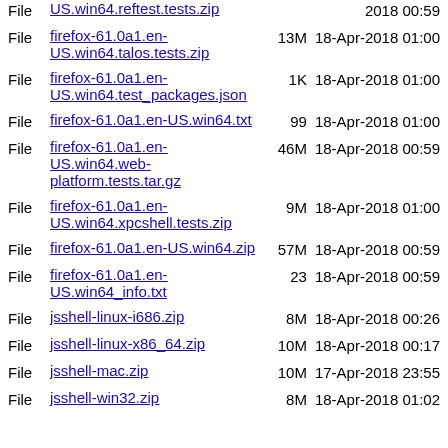File US.win64.reftest.tests.zip 2018 00:59
File firefox-61.0a1.en-US.win64.talos.tests.zip 13M 18-Apr-2018 01:00
File firefox-61.0a1.en-US.win64.test_packages.json 1K 18-Apr-2018 01:00
File firefox-61.0a1.en-US.win64.txt 99 18-Apr-2018 01:00
File firefox-61.0a1.en-US.win64.web-platform.tests.tar.gz 46M 18-Apr-2018 00:59
File firefox-61.0a1.en-US.win64.xpcshell.tests.zip 9M 18-Apr-2018 01:00
File firefox-61.0a1.en-US.win64.zip 57M 18-Apr-2018 00:59
File firefox-61.0a1.en-US.win64_info.txt 23 18-Apr-2018 00:59
File jsshell-linux-i686.zip 8M 18-Apr-2018 00:26
File jsshell-linux-x86_64.zip 10M 18-Apr-2018 00:17
File jsshell-mac.zip 10M 17-Apr-2018 23:55
File jsshell-win32.zip 8M 18-Apr-2018 01:02